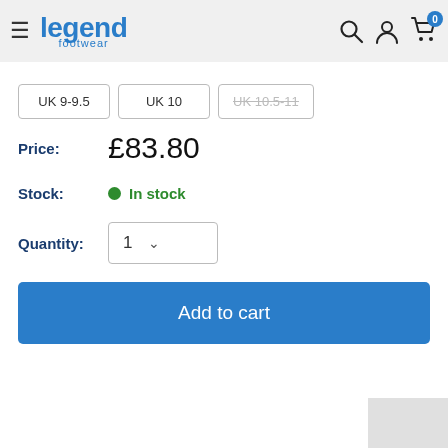Legend Footwear — navigation header with search, account, and cart icons
UK 9-9.5
UK 10
UK 10.5-11 (unavailable)
Price: £83.80
Stock: In stock
Quantity: 1
Add to cart